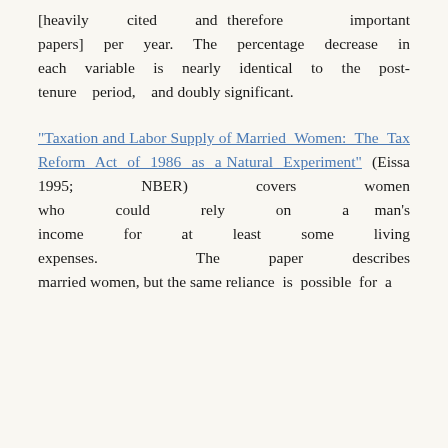[heavily cited and therefore important papers] per year. The percentage decrease in each variable is nearly identical to the post-tenure period, and doubly significant.
"Taxation and Labor Supply of Married Women: The Tax Reform Act of 1986 as a Natural Experiment" (Eissa 1995; NBER) covers women who could rely on a man's income for at least some living expenses. The paper describes married women, but the same reliance is possible for a